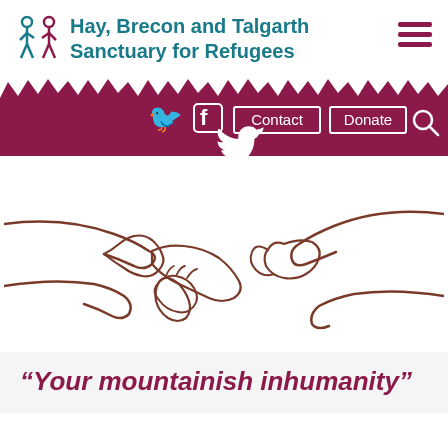Hay, Brecon and Talgarth Sanctuary for Refugees
[Figure (illustration): Navigation bar with dark crimson/maroon torn-paper background containing Twitter bird icon, Facebook F icon, Contact button, Donate button, and search icon in white]
[Figure (illustration): Line drawing illustration of two hands clasping in a handshake, rendered in dark brown/maroon outline style on white background]
“Your mountainish inhumanity”